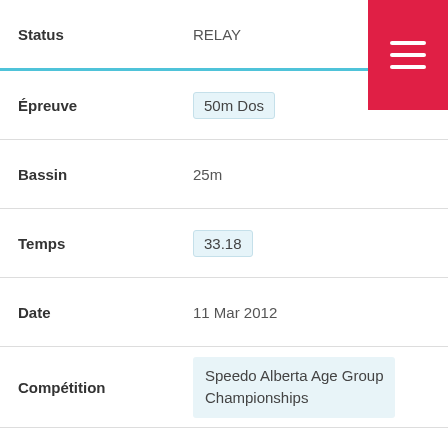Status: RELAY
Épreuve: 50m Dos
Bassin: 25m
Temps: 33.18
Date: 11 Mar 2012
Compétition: Speedo Alberta Age Group Championships
Status:
Épreuve: 50m Libre